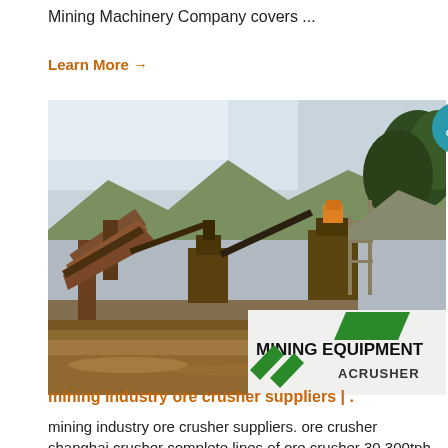Mining Machinery Company covers ...
Learn More →
[Figure (photo): Outdoor mining equipment facility showing large industrial crushers and conveyor belts. In the lower right corner is an overlaid logo/banner reading 'MINING EQUIPMENT ACRUSHER' with green diagonal stripe marks.]
mining industry ore crusher suppliers | .
mining industry ore crusher suppliers. ore crusher shanghai crusher complete lines of ore crusher 30 300tph crushing